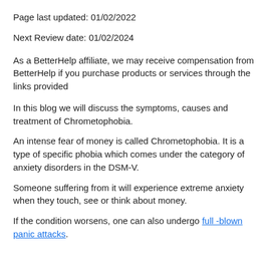Page last updated: 01/02/2022
Next Review date: 01/02/2024
As a BetterHelp affiliate, we may receive compensation from BetterHelp if you purchase products or services through the links provided
In this blog we will discuss the symptoms, causes and treatment of Chrometophobia.
An intense fear of money is called Chrometophobia. It is a type of specific phobia which comes under the category of anxiety disorders in the DSM-V.
Someone suffering from it will experience extreme anxiety when they touch, see or think about money.
If the condition worsens, one can also undergo full-blown panic attacks.